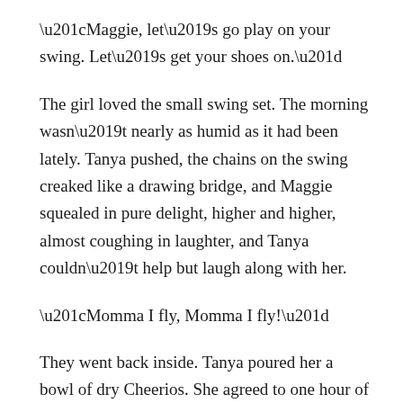“Maggie, let’s go play on your swing. Let’s get your shoes on.”
The girl loved the small swing set. The morning wasn’t nearly as humid as it had been lately. Tanya pushed, the chains on the swing creaked like a drawing bridge, and Maggie squealed in pure delight, higher and higher, almost coughing in laughter, and Tanya couldn’t help but laugh along with her.
“Momma I fly, Momma I fly!”
They went back inside. Tanya poured her a bowl of dry Cheerios. She agreed to one hour of television. The clock ticked toward 2:00.